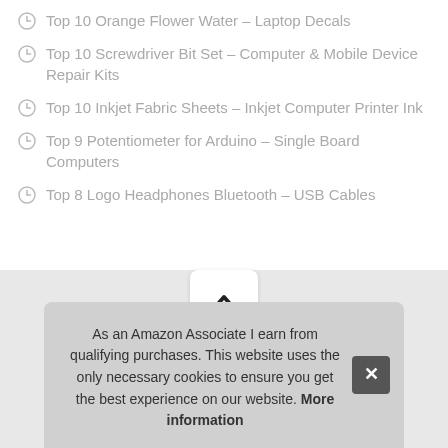Top 10 Orange Flower Water – Laptop Decals
Top 10 Screwdriver Bit Set – Computer & Mobile Device Repair Kits
Top 10 Inkjet Fabric Sheets – Inkjet Computer Printer Ink
Top 9 Potentiometer for Arduino – Single Board Computers
Top 8 Logo Headphones Bluetooth – USB Cables
As an Amazon Associate I earn from qualifying purchases. This website uses the only necessary cookies to ensure you get the best experience on our website. More information